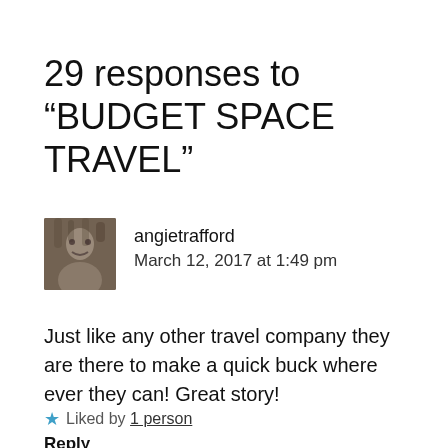29 responses to “BUDGET SPACE TRAVEL”
angietrafford
March 12, 2017 at 1:49 pm
Just like any other travel company they are there to make a quick buck where ever they can! Great story!
★ Liked by 1 person
Reply